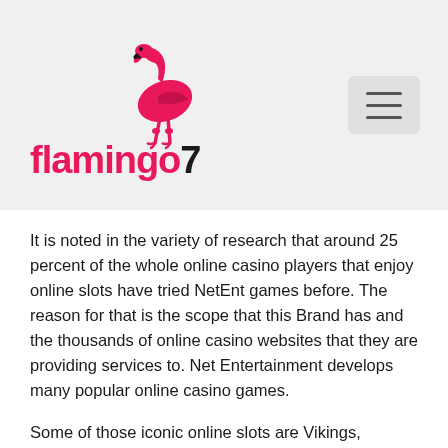[Figure (logo): Flamingo7 logo with pink flamingo bird illustration above the text 'flamingo7' in pink/black, plus a hamburger menu button in top right]
It is noted in the variety of research that around 25 percent of the whole online casino players that enjoy online slots have tried NetEnt games before. The reason for that is the scope that this Brand has and the thousands of online casino websites that they are providing services to. Net Entertainment develops many popular online casino games.
Some of those iconic online slots are Vikings, Starburst, Gonzo's Quest, Hell's Kitchen, Thor, and so on. Net Ent games are famous for their graphics and innovative features. For instance, Gonzo's Quest is the first game that brought avalanche reels to feature to the gambling industry. This feature was enabling players to continue the game even after forming a winning line. Through